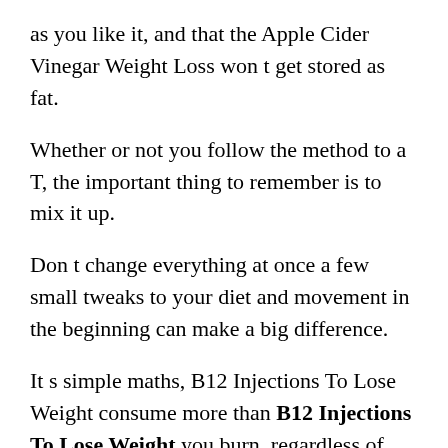as you like it, and that the Apple Cider Vinegar Weight Loss won t get stored as fat.
Whether or not you follow the method to a T, the important thing to remember is to mix it up.
Don t change everything at once a few small tweaks to your diet and movement in the beginning can make a big difference.
It s simple maths, B12 Injections To Lose Weight consume more than B12 Injections To Lose Weight you burn, regardless of whether it s fat, sugar or B12 Injections To Lose Weight protein, you gain Documentary on keto diet weight.
Use the Web s best calorie counter and food journal, B12 Injections To Lose Weight and track your exercise